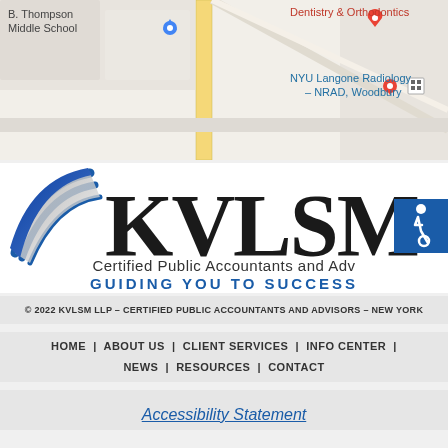[Figure (map): Google Maps screenshot showing B. Thompson Middle School on the left, Dentistry & Orthodontics label in red on the upper right, and NYU Langone Radiology - NRAD, Woodbury in blue on the right, with a yellow vertical road and gray diagonal roads.]
[Figure (logo): KVLSM logo with a blue and grey swoosh icon on the left and large KVLSM text, underneath: Certified Public Accountants and Advisors, GUIDING YOU TO SUCCESS. Blue accessibility icon badge on the right.]
© 2022 KVLSM LLP – CERTIFIED PUBLIC ACCOUNTANTS AND ADVISORS – NEW YORK
HOME | ABOUT US | CLIENT SERVICES | INFO CENTER | NEWS | RESOURCES | CONTACT
Accessibility Statement